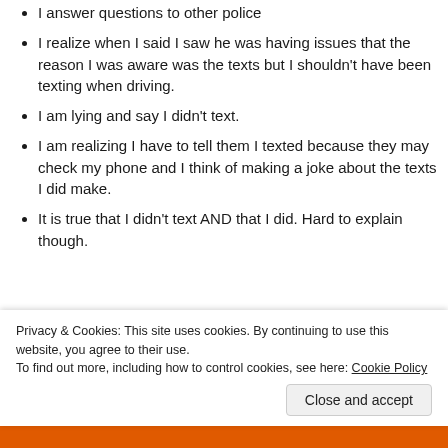I answer questions to other police
I realize when I said I saw he was having issues that the reason I was aware was the texts but I shouldn't have been texting when driving.
I am lying and say I didn't text.
I am realizing I have to tell them I texted because they may check my phone and I think of making a joke about the texts I did make.
It is true that I didn't text AND that I did. Hard to explain though.
I am seeing kids getting high on some cheap drugs and I
Privacy & Cookies: This site uses cookies. By continuing to use this website, you agree to their use.
To find out more, including how to control cookies, see here: Cookie Policy
Close and accept